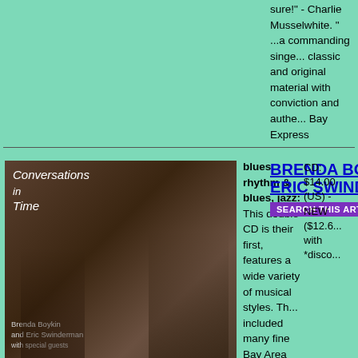sure!" - Charlie Musselwhite. " ...a commanding singer... classic and original material with conviction and authenticity. Bay Express
BRENDA BOYKIN & ERIC SWINDERMAN
CONVERSATIONS IN TIME
CD: $14.00 (US) - NEW ($12.6... with *disco...
[Figure (photo): Album cover for Conversations in Time by Brenda Boykin and Eric Swinderman with special guests]
blues, rhythm & blues, jazz: This double CD is their first, features a wide variety of musical styles. The included many fine Bay Area musicians into their vision with Duke Ellington's classic Mood Indigo. This is followed and Latin music that culminates with Brenda's original Momma. Brenda and Eric are joined throughout this CD Babatundse, Charles McNeal, Ron Belcher, Raul Ran DeLong and Bobby Tynes. The style of the other CD, to the format of Bourbon and Cornbread featuring Bre reflects the rural and yet eclectic influences they bring And they take on all these styles of music with joy and harmony, whether they are doing the Maple Leaf Rag classical American music at it's best.
VINYL
FLEA MARKET
CD: $10.00 (US) -